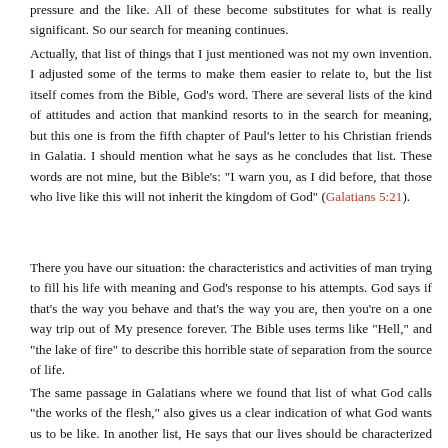pressure and the like. All of these become substitutes for what is really significant. So our search for meaning continues.
Actually, that list of things that I just mentioned was not my own invention. I adjusted some of the terms to make them easier to relate to, but the list itself comes from the Bible, God’s word. There are several lists of the kind of attitudes and action that mankind resorts to in the search for meaning, but this one is from the fifth chapter of Paul’s letter to his Christian friends in Galatia. I should mention what he says as he concludes that list. These words are not mine, but the Bible’s: “I warn you, as I did before, that those who live like this will not inherit the kingdom of God” (Galatians 5:21).
There you have our situation: the characteristics and activities of man trying to fill his life with meaning and God’s response to his attempts. God says if that’s the way you behave and that’s the way you are, then you’re on a one way trip out of My presence forever. The Bible uses terms like “Hell,” and “the lake of fire” to describe this horrible state of separation from the source of life.
The same passage in Galatians where we found that list of what God calls “the works of the flesh,” also gives us a clear indication of what God wants us to be like. In another list, He says that our lives should be characterized by love, joy, peace, patience, kindness,